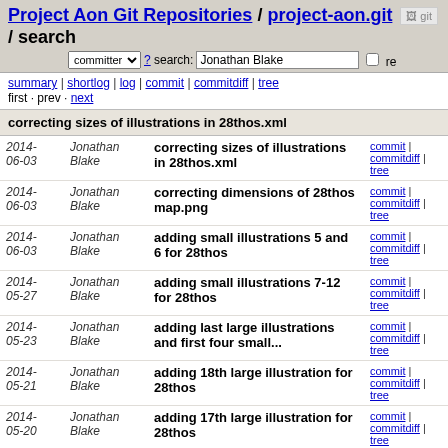Project Aon Git Repositories / project-aon.git / search
summary | shortlog | log | commit | commitdiff | tree
first · prev · next
correcting sizes of illustrations in 28thos.xml
| Date | Author | Message | Actions |
| --- | --- | --- | --- |
| 2014-06-03 | Jonathan Blake | correcting sizes of illustrations in 28thos.xml | commit | commitdiff | tree |
| 2014-06-03 | Jonathan Blake | correcting dimensions of 28thos map.png | commit | commitdiff | tree |
| 2014-06-03 | Jonathan Blake | adding small illustrations 5 and 6 for 28thos | commit | commitdiff | tree |
| 2014-05-27 | Jonathan Blake | adding small illustrations 7-12 for 28thos | commit | commitdiff | tree |
| 2014-05-23 | Jonathan Blake | adding last large illustrations and first four small... | commit | commitdiff | tree |
| 2014-05-21 | Jonathan Blake | adding 18th large illustration for 28thos | commit | commitdiff | tree |
| 2014-05-20 | Jonathan Blake | adding 17th large illustration for 28thos | commit | commitdiff | tree |
| 2014-05-19 | Jonathan Blake | adding 16th large illustration for 28thos | commit | commitdiff | tree |
| 2014-05-1? | Jonathan Blake | adding 14th large illustration for... | commit | commitdiff |